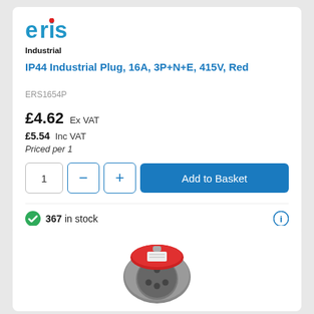[Figure (logo): Eris Industrial logo - blue and red stylized text]
Industrial
IP44 Industrial Plug, 16A, 3P+N+E, 415V, Red
ERS1654P
£4.62 Ex VAT
£5.54 Inc VAT
Priced per 1
367 in stock
[Figure (photo): Industrial plug socket - grey body with red circular lid/cap, showing 4 pin holes on front face]